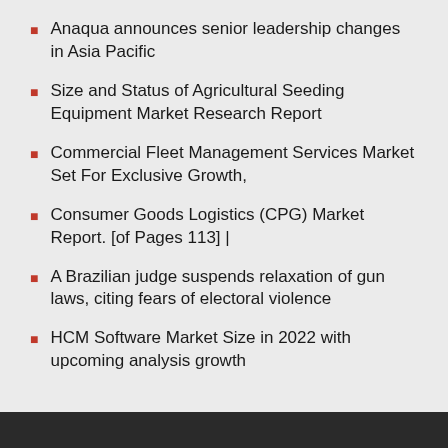Anaqua announces senior leadership changes in Asia Pacific
Size and Status of Agricultural Seeding Equipment Market Research Report
Commercial Fleet Management Services Market Set For Exclusive Growth,
Consumer Goods Logistics (CPG) Market Report. [of Pages 113] |
A Brazilian judge suspends relaxation of gun laws, citing fears of electoral violence
HCM Software Market Size in 2022 with upcoming analysis growth